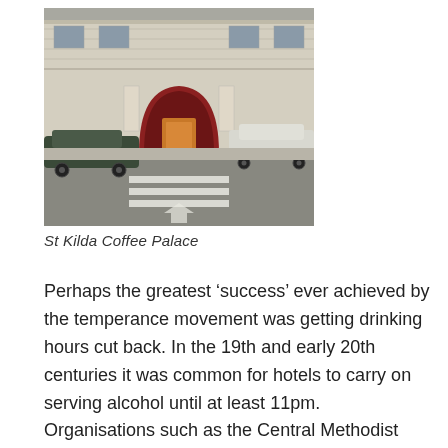[Figure (photo): Street-level photograph of St Kilda Coffee Palace building, a heritage-style stone building with a red arched entrance, orange signage, cars parked in front, and a street with road markings in the foreground.]
St Kilda Coffee Palace
Perhaps the greatest ‘success’ ever achieved by the temperance movement was getting drinking hours cut back. In the 19th and early 20th centuries it was common for hotels to carry on serving alcohol until at least 11pm. Organisations such as the Central Methodist Mission and the Women’s Christian Temperance Union (WCTU) collected 51,000